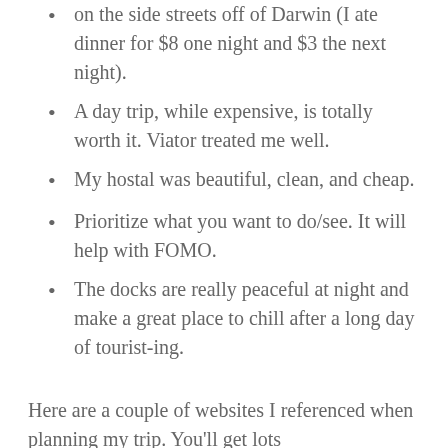on the side streets off of Darwin (I ate dinner for $8 one night and $3 the next night).
A day trip, while expensive, is totally worth it. Viator treated me well.
My hostal was beautiful, clean, and cheap.
Prioritize what you want to do/see. It will help with FOMO.
The docks are really peaceful at night and make a great place to chill after a long day of tourist-ing.
Here are a couple of websites I referenced when planning my trip. You'll get lots